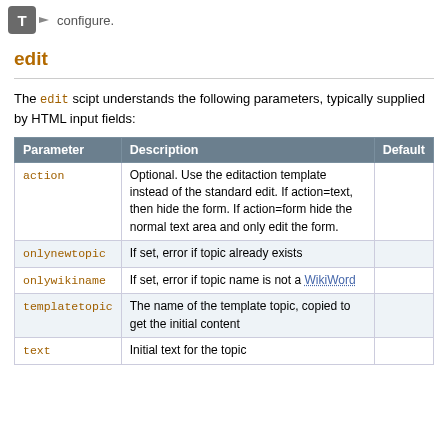configure.
edit
The edit scipt understands the following parameters, typically supplied by HTML input fields:
| Parameter | Description | Default |
| --- | --- | --- |
| action | Optional. Use the editaction template instead of the standard edit. If action=text, then hide the form. If action=form hide the normal text area and only edit the form. |  |
| onlynewtopic | If set, error if topic already exists |  |
| onlywikiname | If set, error if topic name is not a WikiWord |  |
| templatetopic | The name of the template topic, copied to get the initial content |  |
| text | Initial text for the topic |  |